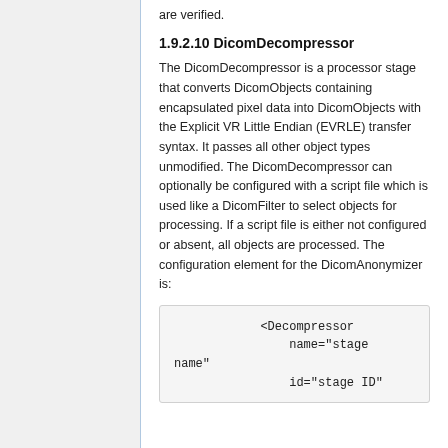are verified.
1.9.2.10 DicomDecompressor
The DicomDecompressor is a processor stage that converts DicomObjects containing encapsulated pixel data into DicomObjects with the Explicit VR Little Endian (EVRLE) transfer syntax. It passes all other object types unmodified. The DicomDecompressor can optionally be configured with a script file which is used like a DicomFilter to select objects for processing. If a script file is either not configured or absent, all objects are processed. The configuration element for the DicomAnonymizer is:
<Decompressor
                name="stage name"
                id="stage ID"